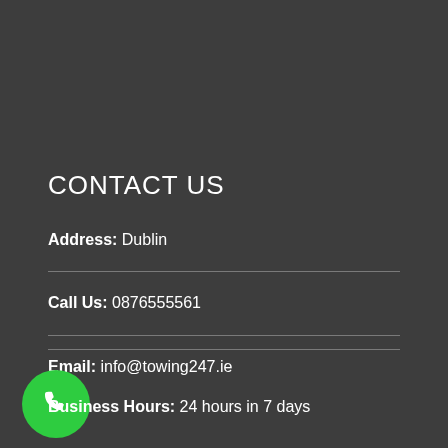CONTACT US
Address: Dublin
Call Us: 0876555561
Email: info@towing247.ie
Business Hours: 24 hours in 7 days
[Figure (illustration): Green circular phone/call button icon in the bottom-left corner]